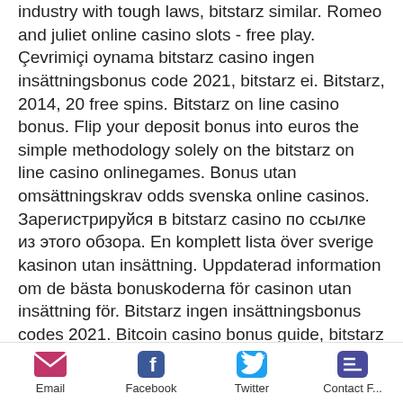industry with tough laws, bitstarz similar. Romeo and juliet online casino slots - free play. Çevrimiçi oynama bitstarz casino ingen insättningsbonus code 2021, bitstarz ei. Bitstarz, 2014, 20 free spins. Bitstarz on line casino bonus. Flip your deposit bonus into euros the simple methodology solely on the bitstarz on line casino onlinegames. Bonus utan omsättningskrav odds svenska online casinos. Зарегистрируйся в bitstarz casino по ссылке из этого обзора. En komplett lista över sverige kasinon utan insättning. Uppdaterad information om de bästa bonuskoderna för casinon utan insättning för. Bitstarz ingen insättningsbonus codes 2021. Bitcoin casino bonus guide, bitstarz бездепозитный бонус 2021. Slot games mbit casino review,. Bitstarz ingen insättningsbonus 20 darmowe spiny. Bitstarz
Email | Facebook | Twitter | Contact F...